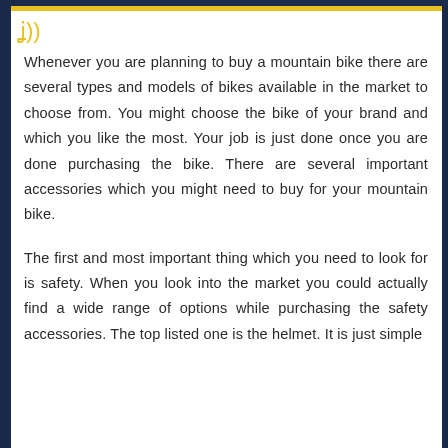Whenever you are planning to buy a mountain bike there are several types and models of bikes available in the market to choose from. You might choose the bike of your brand and which you like the most. Your job is just done once you are done purchasing the bike. There are several important accessories which you might need to buy for your mountain bike.
The first and most important thing which you need to look for is safety. When you look into the market you could actually find a wide range of options while purchasing the safety accessories. The top listed one is the helmet. It is just simple